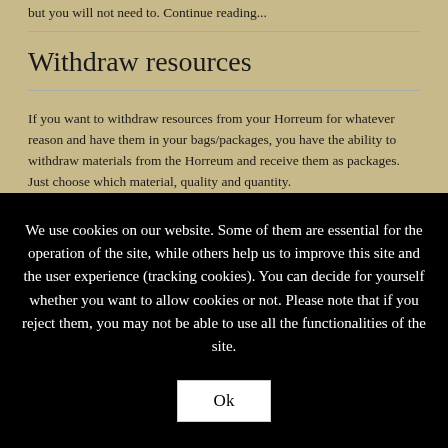but you will not need to. Continue reading...
Withdraw resources
If you want to withdraw resources from your Horreum for whatever reason and have them in your bags/packages, you have the ability to withdraw materials from the Horreum and receive them as packages. Just choose which material, quality and quantity.
We use cookies on our website. Some of them are essential for the operation of the site, while others help us to improve this site and the user experience (tracking cookies). You can decide for yourself whether you want to allow cookies or not. Please note that if you reject them, you may not be able to use all the functionalities of the site.